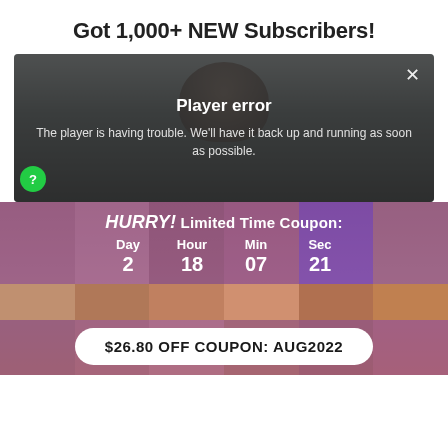Got 1,000+ NEW Subscribers!
[Figure (screenshot): Video player showing a person, with a 'Player error' overlay message: 'The player is having trouble. We'll have it back up and running as soon as possible.' A green help button (?) is visible on the left, and a close (X) button on the top right.]
HURRY! Limited Time Coupon:
Day 2  Hour 18  Min 07  Sec 21
$26.80 OFF COUPON: AUG2022